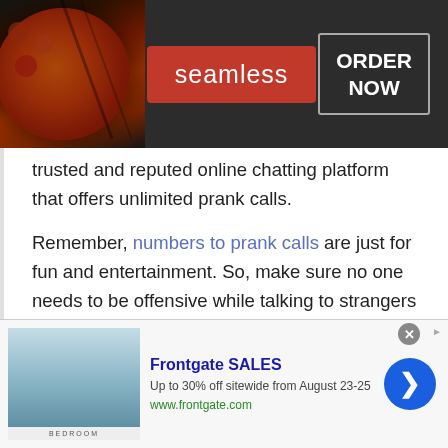[Figure (screenshot): Top advertisement banner for Seamless food ordering service. Dark background with pizza image on left, red 'seamless' box in center, and 'ORDER NOW' outlined box on right.]
trusted and reputed online chatting platform that offers unlimited prank calls.
Remember, numbers to prank calls are just for fun and entertainment. So, make sure no one needs to be offensive while talking to strangers online. As any violation would create trouble for you i.e. you will be blocked by the admin or moderators. However, if you ever feel uncomfortable while revealing your identity then anonymous prank calls
[Figure (screenshot): Bottom advertisement banner for Frontgate SALES. Shows bedroom product image on left, with text 'Frontgate SALES', 'Up to 30% off sitewide from August 23-25', 'www.frontgate.com', a close button, and a blue arrow button on right.]